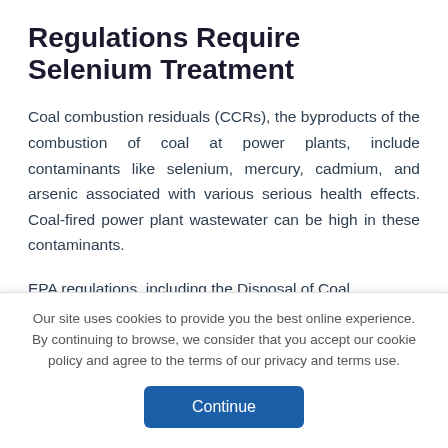Regulations Require Selenium Treatment
Coal combustion residuals (CCRs), the byproducts of the combustion of coal at power plants, include contaminants like selenium, mercury, cadmium, and arsenic associated with various serious health effects. Coal-fired power plant wastewater can be high in these contaminants.
EPA regulations, including the Disposal of Coal
Our site uses cookies to provide you the best online experience. By continuing to browse, we consider that you accept our cookie policy and agree to the terms of our privacy and terms use.